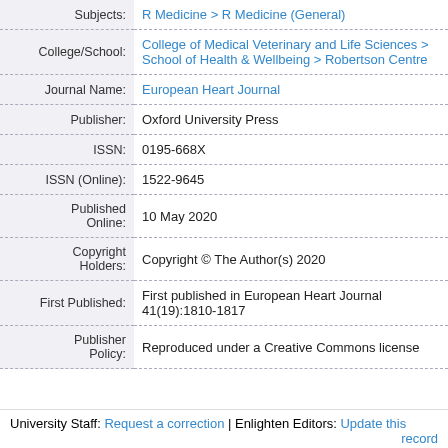| Field | Value |
| --- | --- |
| Subjects: | R Medicine > R Medicine (General) |
| College/School: | College of Medical Veterinary and Life Sciences > School of Health & Wellbeing > Robertson Centre |
| Journal Name: | European Heart Journal |
| Publisher: | Oxford University Press |
| ISSN: | 0195-668X |
| ISSN (Online): | 1522-9645 |
| Published Online: | 10 May 2020 |
| Copyright Holders: | Copyright © The Author(s) 2020 |
| First Published: | First published in European Heart Journal 41(19):1810-1817 |
| Publisher Policy: | Reproduced under a Creative Commons license |
University Staff: Request a correction | Enlighten Editors: Update this record